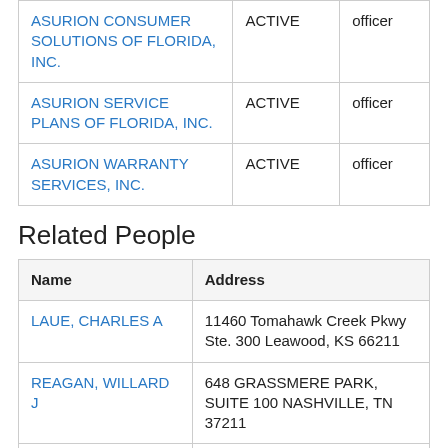|  | ACTIVE | officer |
| --- | --- | --- |
| ASURION CONSUMER SOLUTIONS OF FLORIDA, INC. | ACTIVE | officer |
| ASURION SERVICE PLANS OF FLORIDA, INC. | ACTIVE | officer |
| ASURION WARRANTY SERVICES, INC. | ACTIVE | officer |
Related People
| Name | Address |
| --- | --- |
| LAUE, CHARLES A | 11460 Tomahawk Creek Pkwy Ste. 300 Leawood, KS 66211 |
| REAGAN, WILLARD J | 648 GRASSMERE PARK, SUITE 100 NASHVILLE, TN 37211 |
| Machalinski, Richard | 300 South Wacker Drive Ste 1350 Chicago, IL 60606 |